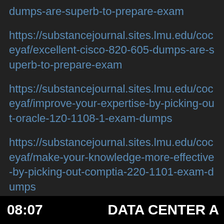dumps-are-superb-to-prepare-exam
https://substancejournal.sites.lmu.edu/coceyaf/excellent-cisco-820-605-dumps-are-superb-to-prepare-exam
https://substancejournal.sites.lmu.edu/coceyaf/improve-your-expertise-by-picking-out-oracle-1z0-1108-1-exam-dumps
https://substancejournal.sites.lmu.edu/coceyaf/make-your-knowledge-more-effective-by-picking-out-comptia-220-1101-exam-dumps
https://substancejournal.sites.lmu.edu/coceyaf/excellent-comptia-220-1102-dumps-are-superb-to-prepare-exam
08:07   DATA CENTER A